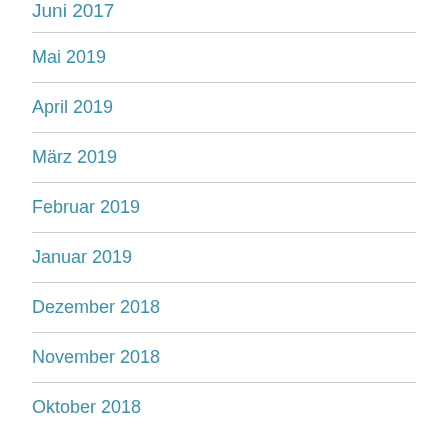Juni 2017
Mai 2019
April 2019
März 2019
Februar 2019
Januar 2019
Dezember 2018
November 2018
Oktober 2018